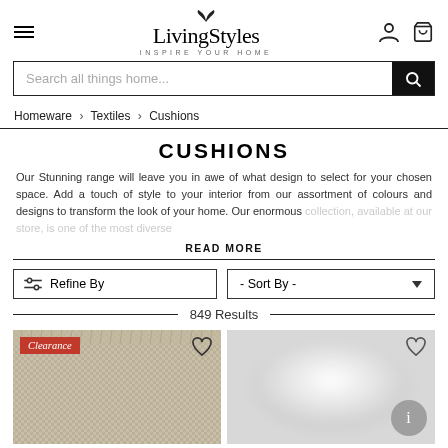LivingStyles — INSPIRE YOUR HOME
Search all things home...
Homeware › Textiles › Cushions
CUSHIONS
Our Stunning range will leave you in awe of what design to select for your chosen space. Add a touch of style to your interior from our assortment of colours and designs to transform the look of your home. Our enormous collection, available at our store, is one of the most diverse...
READ MORE
Refine By
- Sort By -
849 Results
[Figure (photo): Textured beige/cream cushion with fringe edges, labelled Clearance]
[Figure (photo): White/light grey cushion product image, blurred, with circle info button]